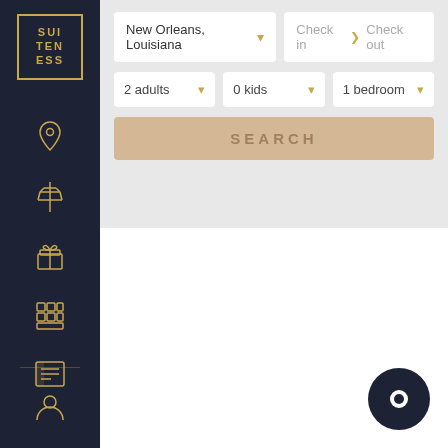[Figure (screenshot): Suiteness logo in the sidebar - gold bordered box with SUI TEN ESS text]
[Figure (screenshot): Navigation sidebar with icons: location pin, airport/tower, gift box, building/hotel, document/list, person/user]
[Figure (screenshot): Search interface with location dropdown 'New Orleans, Louisiana', check in/check out date fields, 2 adults, 0 kids, 1 bedroom dropdowns, and SEARCH button]